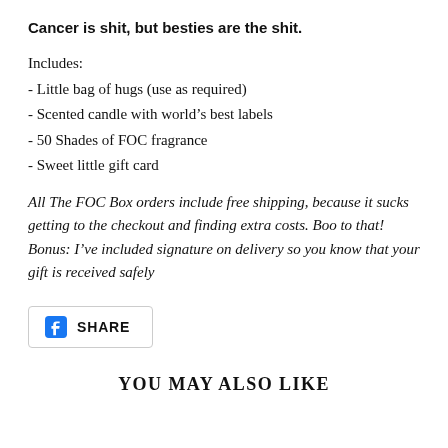Cancer is shit, but besties are the shit.
Includes:
- Little bag of hugs (use as required)
- Scented candle with world's best labels
- 50 Shades of FOC fragrance
- Sweet little gift card
All The FOC Box orders include free shipping, because it sucks getting to the checkout and finding extra costs. Boo to that! Bonus: I've included signature on delivery so you know that your gift is received safely
[Figure (other): Facebook Share button with Facebook logo icon and SHARE text label]
YOU MAY ALSO LIKE